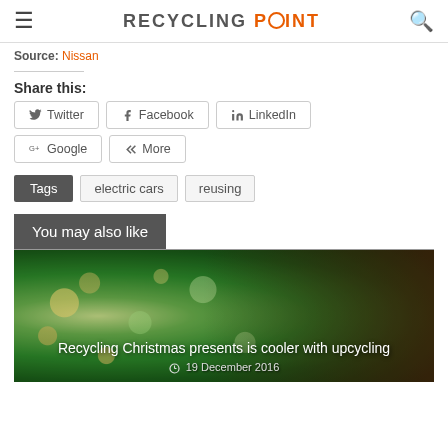RECYCLING POINT
Source: Nissan
Share this:
Twitter | Facebook | LinkedIn | Google | More
Tags: electric cars | reusing
You may also like
[Figure (photo): Santa Claus figurine against bokeh green background with text: Recycling Christmas presents is cooler with upcycling, 19 December 2016]